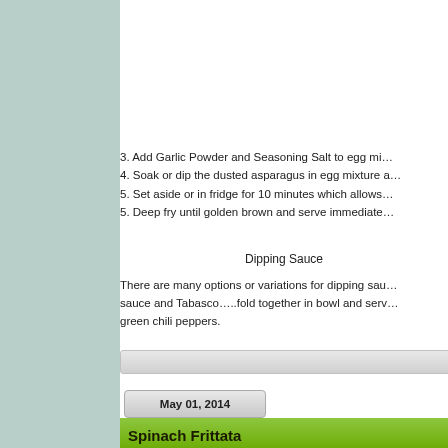3. Add Garlic Powder and Seasoning Salt to egg mi…
4. Soak or dip the dusted asparagus in egg mixture a…
5. Set aside or in fridge for 10 minutes which allows…
5. Deep fry until golden brown and serve immediate…
Dipping Sauce
There are many options or variations for dipping sau… sauce and Tabasco…..fold together in bowl and serv… green chili peppers.
May 01, 2014
Spinach Frittata